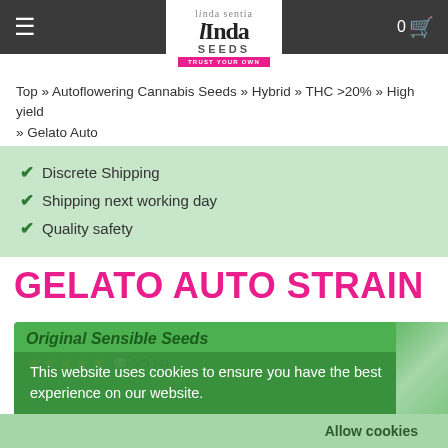linda seeds - TRUST YOUR OWN
Top » Autoflowering Cannabis Seeds » Hybrid » THC >20% » High yield » Gelato Auto
Discrete Shipping
Shipping next working day
Quality safety
GELATO AUTO STRAIN
Original Sensible Seeds
5/5 (4)
This website uses cookies to ensure you have the best experience on our website. Learn More
Allow cookies